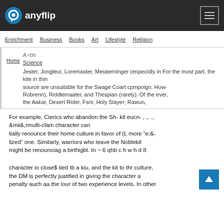anyflip
Enrichment | Business | Books | Art | Lifestyle | Religion
Home A~bh Science Jester, Jongleur, Loremaster, Meiaterninger (enpecidly in For the most part, the kite in thin source are unsuitable for the Swage Coart cpmpoign. How- Robrenn), Riddlemaater, and Thespian (rarely). Of the ever, the Aakar, Desert Rider, Fsrir, Holy Slayer; Rawun,
For example, Cierics who abandon the Sh- kit eucn- , ,. ., &mii&,rmulti-clam character can tially renounce their home culture in favor of (L more “e;&-lized” one. Similarly, warriors who leave the Noblekit might be renounciag a birthigbt. In ~ 6 qhb c h w h d 8
character io close$ tied tb a kiu, and the kit to thr culture, the DM is perfectly juatified in giving the character a penalty auch aa the lour of two experience levels. In other